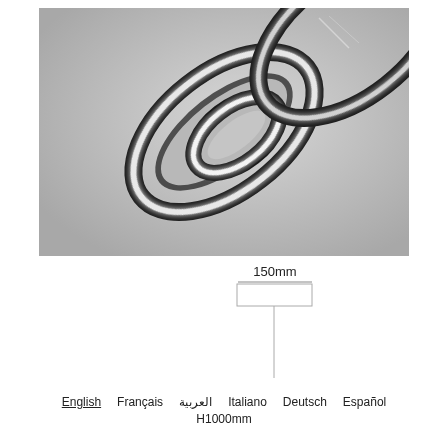[Figure (photo): Close-up product photo of a modern LED pendant light shaped like two interlocking oval/paperclip rings on a grey background. The fixture has black outer rings with bright white LED strips on the inner edges.]
[Figure (engineering-diagram): Dimension diagram showing the pendant light fixture with a 150mm width label for the ceiling mount plate and a vertical wire/rod drop. Language options listed at bottom: English (underlined), Français, العربية, Italiano, Deutsch, Español. H1000mm label below.]
150mm
English  Français  العربية  Italiano  Deutsch  Español
H1000mm